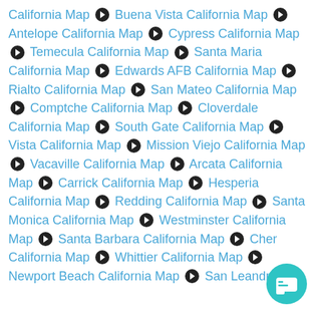California Map ❯ Buena Vista California Map ❯ Antelope California Map ❯ Cypress California Map ❯ Temecula California Map ❯ Santa Maria California Map ❯ Edwards AFB California Map ❯ Rialto California Map ❯ San Mateo California Map ❯ Comptche California Map ❯ Cloverdale California Map ❯ South Gate California Map ❯ Vista California Map ❯ Mission Viejo California Map ❯ Vacaville California Map ❯ Arcata California Map ❯ Carrick California Map ❯ Hesperia California Map ❯ Redding California Map ❯ Santa Monica California Map ❯ Westminster California Map ❯ Santa Barbara California Map ❯ Che... California Map ❯ Whittier California Map ❯ Newport Beach California Map ❯ San Leandro...
[Figure (other): Teal circular chat button in the bottom right corner]